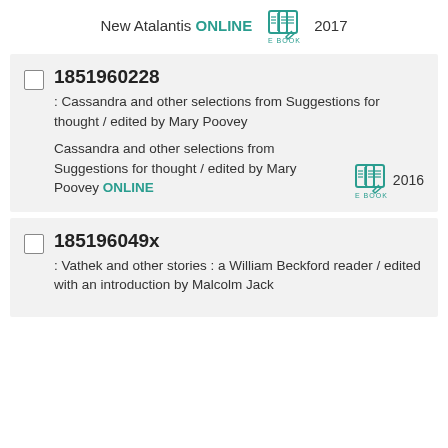New Atalantis ONLINE  [E BOOK icon]  2017
185196022​8 : Cassandra and other selections from Suggestions for thought / edited by Mary Poovey | Cassandra and other selections from Suggestions for thought / edited by Mary Poovey ONLINE [E BOOK] 2016
185196049x : Vathek and other stories : a William Beckford reader / edited with an introduction by Malcolm Jack